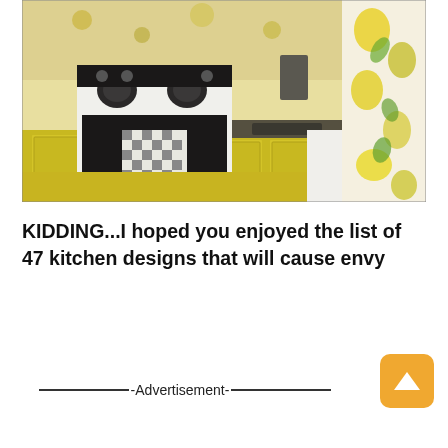[Figure (photo): A retro-style kitchen with bright yellow cabinets and countertops, a white electric stove with a checkered dish towel hanging on the oven door, a dark countertop near a sink on the right, and floral yellow/green wallpaper and curtain on the right side.]
KIDDING...I hoped you enjoyed the list of 47 kitchen designs that will cause envy
———————-Advertisement————————-